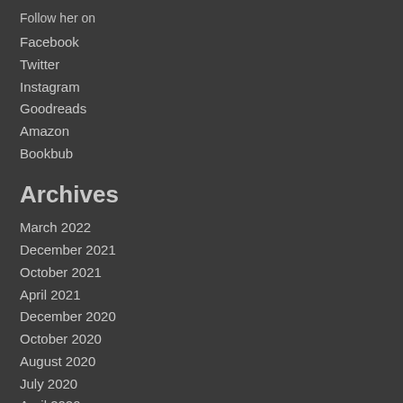Follow her on
Facebook
Twitter
Instagram
Goodreads
Amazon
Bookbub
Archives
March 2022
December 2021
October 2021
April 2021
December 2020
October 2020
August 2020
July 2020
April 2020
March 2020
January 2020